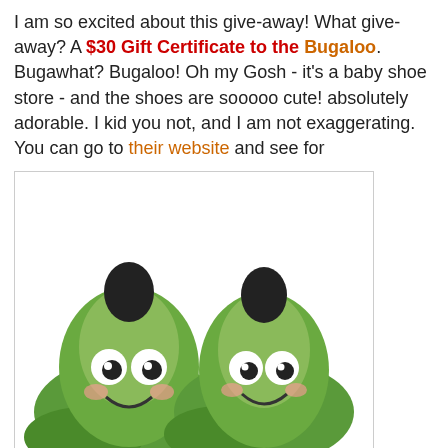I am so excited about this give-away! What give-away? A $30 Gift Certificate to the Bugaloo. Bugawhat? Bugaloo! Oh my Gosh - it's a baby shoe store - and the shoes are sooooo cute! absolutely adorable. I kid you not, and I am not exaggerating. You can go to their website and see for yourself.
[Figure (photo): Green frog-themed baby shoes with cartoon eyes and smile on the toe area]
So now, all you have to do to get a chance to be entered in a raffle draw is to go to Bugaloo, look around, and then come back here and leave a comment on this post telling me what style you like (the name of the style). It does not matter if it's a boy or a girl. Just pick one and let me know which one in the comment section.
For an extra chance to win - sign up for their newsletter on Bugaloo website and your entry will be counted twice! (they will let me know who signed up :) )
[Figure (photo): Partial view of another baby shoe, pinkish/beige colored]
Comments will be closed on November 1 at 5 PM Maui time. The